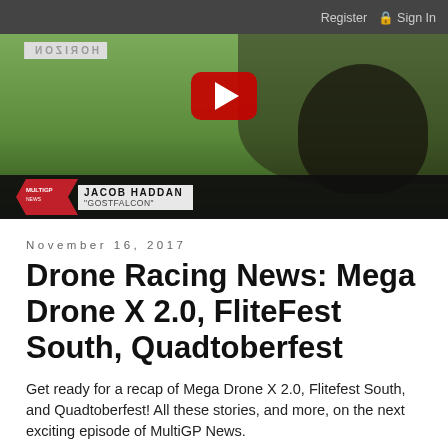Register  Sign In
[Figure (screenshot): YouTube video thumbnail showing a person in a dark t-shirt standing outdoors at a drone racing event. A YouTube play button is visible. Text overlay shows 'JACOB HADDAN' and '"GOSTFALCON"' with a MultiGP News graphic. A Horizon Hobby banner is in the background.]
November 16, 2017
Drone Racing News: Mega Drone X 2.0, FliteFest South, Quadtoberfest
Get ready for a recap of Mega Drone X 2.0, Flitefest South, and Quadtoberfest! All these stories, and more, on the next exciting episode of MultiGP News.
MultiGP Rundown